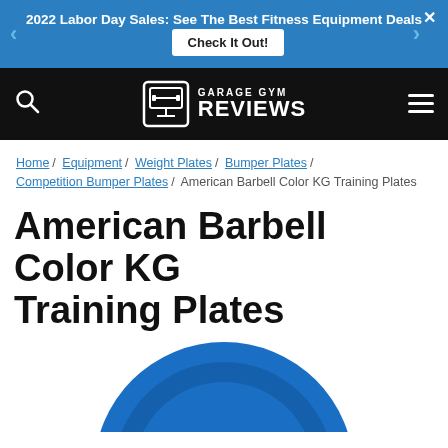2022 Labor Day Sales: See The Best Fitness Equipment Deals  Check It Out!
[Figure (logo): Garage Gym Reviews logo with search and menu icons on black navigation bar]
Home / Equipment / Weight Plates / Bumper Plates / Competition Bumper Plates / American Barbell Color KG Training Plates
American Barbell Color KG Training Plates
[Figure (photo): Partial view of a blue circular bumper weight plate from above]